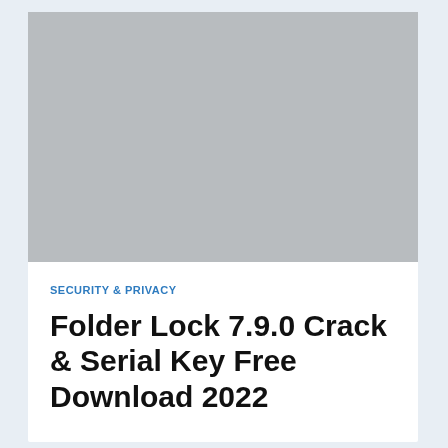[Figure (other): Gray placeholder image rectangle at the top of the card]
SECURITY & PRIVACY
Folder Lock 7.9.0 Crack & Serial Key Free Download 2022